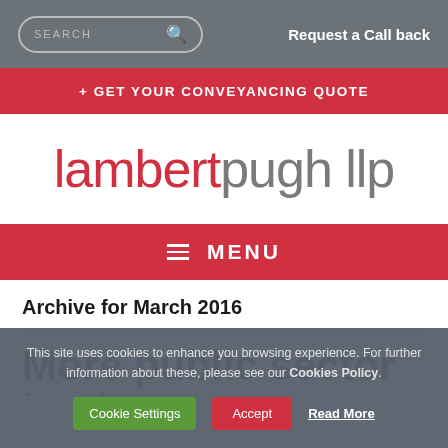[Figure (screenshot): Search box with magnifying glass icon in top navigation bar]
Request a Call back
+ GET YOUR CONVEYANCING QUOTE
[Figure (logo): Lambert Pugh LLP logo — 'lambert' in red, 'pugh llp' in grey]
MENU
Archive for March 2016
More public sector land
This site uses cookies to enhance you browsing experience. For further information about these, please see our Cookies Policy.
Cookie Settings  Accept  Read More